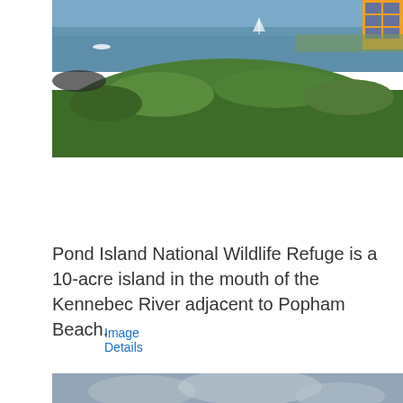[Figure (photo): Aerial or elevated view of Pond Island National Wildlife Refuge showing green vegetation on a rocky island with water and sailboats visible in the background, and a partial view of a solar panel structure in the upper right corner.]
Image Details
Pond Island National Wildlife Refuge is a 10-acre island in the mouth of the Kennebec River adjacent to Popham Beach.
[Figure (photo): Partial view of a second photo at bottom of page, appears to show a lighthouse or structure against a cloudy sky, partially cut off.]